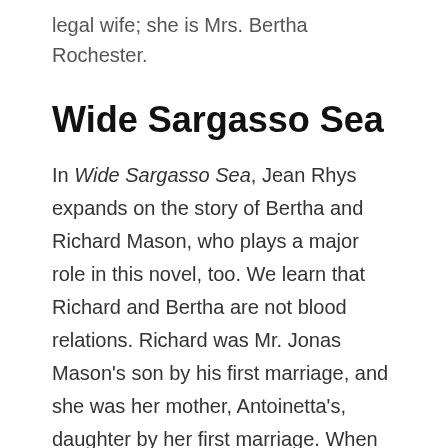legal wife; she is Mrs. Bertha Rochester.
Wide Sargasso Sea
In Wide Sargasso Sea, Jean Rhys expands on the story of Bertha and Richard Mason, who plays a major role in this novel, too. We learn that Richard and Bertha are not blood relations. Richard was Mr. Jonas Mason's son by his first marriage, and she was her mother, Antoinetta's, daughter by her first marriage. When they married, they had no children. Bertha's mother was a Creole, although her father and Richard's father